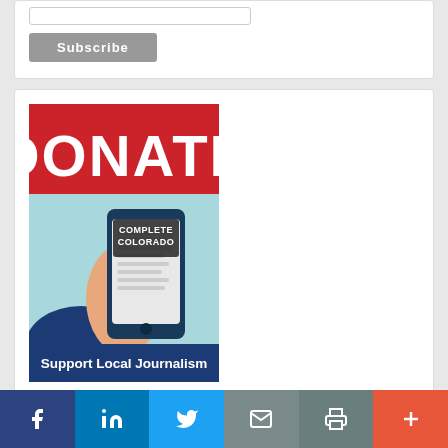[Figure (screenshot): Subscribe form with input field and Subscribe button]
[Figure (illustration): Donate banner for Complete Colorado - Support Local Journalism, showing a hand holding a smartphone with Complete Colorado label, red DONATE header, blue footer saying Support Local Journalism]
[Figure (infographic): Social sharing bar with Facebook, LinkedIn, Twitter, Email, Print, and More buttons]